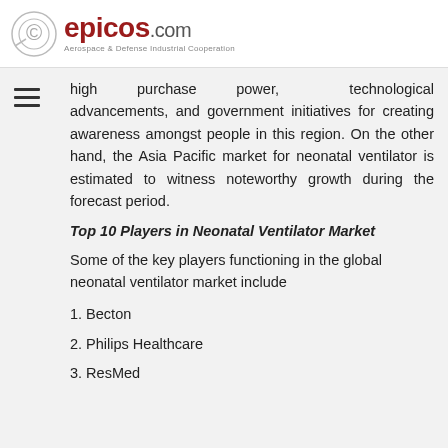epicos.com — Aerospace & Defense Industrial Cooperation
high purchase power, technological advancements, and government initiatives for creating awareness amongst people in this region. On the other hand, the Asia Pacific market for neonatal ventilator is estimated to witness noteworthy growth during the forecast period.
Top 10 Players in Neonatal Ventilator Market
Some of the key players functioning in the global neonatal ventilator market include
1. Becton
2. Philips Healthcare
3. ResMed